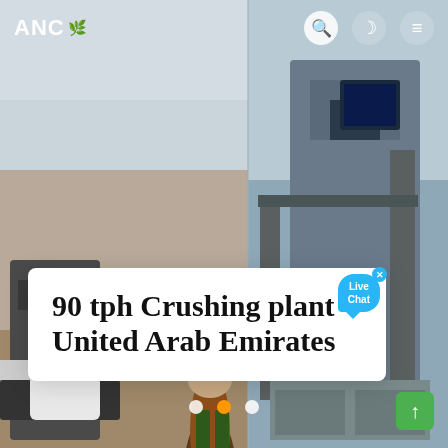[Figure (photo): Website screenshot showing ANC company homepage with two background photos: left shows workers/people standing near machinery on sandy ground, right shows industrial crushing/machinery equipment. Navigation bar at top with ANC logo with leaf icon, search, moon/dark mode, and hamburger menu icons. A white card overlay shows the article title. Slider pagination dots at bottom center (3 dots, middle one orange/active). Green scroll-to-top button bottom right. Live chat bubble (blue) top right of card.]
ANC
90 tph Crushing plant United Arab Emirates